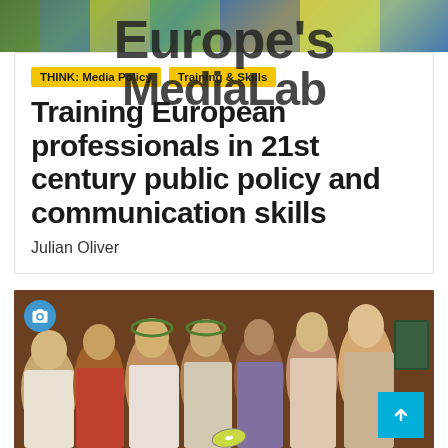[Figure (photo): Top banner photograph showing group of people, partially visible at top of page, overlaid with watermark text 'Europe's MediaLab']
THINK: Media Policy
Training & Skills
Training European professionals in 21st century public policy and communication skills
Julian Oliver
[Figure (photo): Renaissance painting showing group of robed scholars/poets wearing laurel wreaths and red hats, one holding a CD disc, with a camera icon overlay and scroll-to-top button]